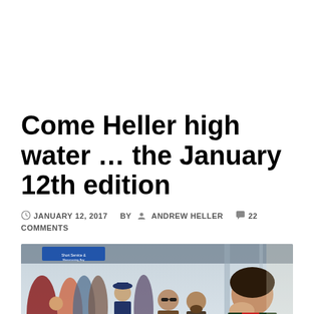Come Heller high water … the January 12th edition
JANUARY 12, 2017  BY  ANDREW HELLER  22 COMMENTS
[Figure (photo): A crowd of people at what appears to be a transit station or airport. In the foreground right, a woman with dark hair covers her mouth with her hand, appearing amused or surprised. A man with sunglasses and a beard stands in the center. In the background left, a group of people including someone in a captain's hat. The setting has glass walls and structural elements visible.]